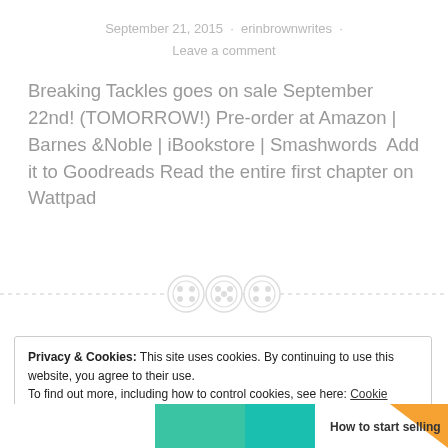September 21, 2015 · erinbrownwrites · Leave a comment
Breaking Tackles goes on sale September 22nd! (TOMORROW!) Pre-order at Amazon | Barnes &Noble | iBookstore | Smashwords  Add it to Goodreads Read the entire first chapter on Wattpad
[Figure (other): Decorative divider with three circular icons on a dashed horizontal line]
Privacy & Cookies: This site uses cookies. By continuing to use this website, you agree to their use.
To find out more, including how to control cookies, see here: Cookie Policy
Close and accept
[Figure (other): Bottom advertisement banner showing colorful shapes and text 'How to start selling']